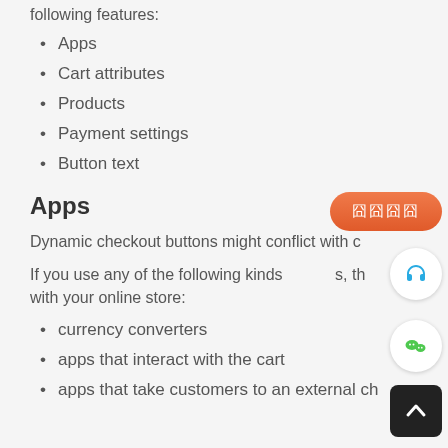following features:
Apps
Cart attributes
Products
Payment settings
Button text
Apps
Dynamic checkout buttons might conflict with c...
If you use any of the following kinds of apps, the... with your online store:
currency converters
apps that interact with the cart
apps that take customers to an external ch...